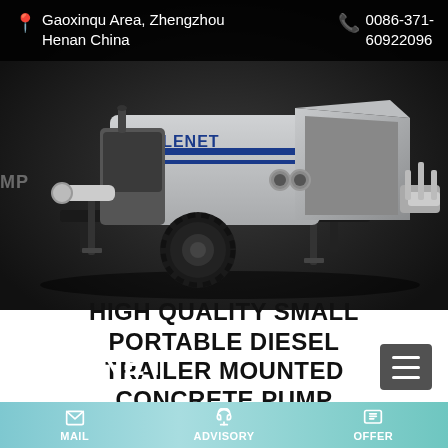Gaoxinqu Area, Zhengzhou Henan China | 0086-371-60922096
[Figure (photo): Talenet branded gray diesel trailer-mounted concrete pump on dark background, showing wheel, hopper, and pump mechanism. TALENET logo on body.]
TALENET
HIGH QUALITY SMALL PORTABLE DIESEL TRAILER MOUNTED CONCRETE PUMP
MAIL | ADVISORY | OFFER